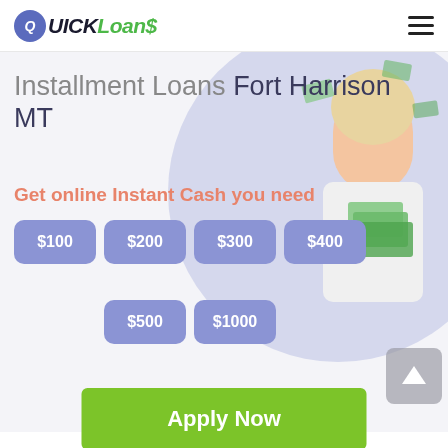[Figure (logo): Quick Loans logo with blue circle Q and green Loans$ text]
Installment Loans Fort Harrison MT
Get online Instant Cash you need
$100
$200
$300
$400
$500
$1000
OR
Apply Now
Applying does NOT affect your credit score!
No credit check to apply.